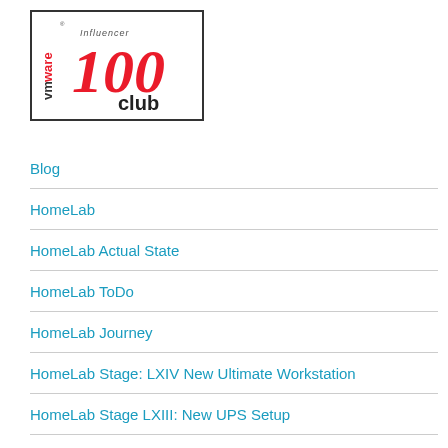[Figure (logo): VMware Influencer 100 Club logo with red '100' script text and black 'club' text, vmware branding on left side, bordered rectangle]
Blog
HomeLab
HomeLab Actual State
HomeLab ToDo
HomeLab Journey
HomeLab Stage: LXIV New Ultimate Workstation
HomeLab Stage LXIII: New UPS Setup
HomeLab Stage LXII: New Power NAS